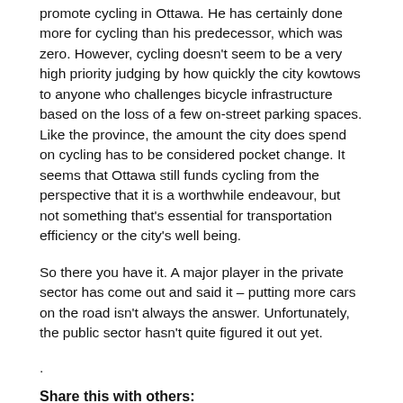promote cycling in Ottawa. He has certainly done more for cycling than his predecessor, which was zero. However, cycling doesn't seem to be a very high priority judging by how quickly the city kowtows to anyone who challenges bicycle infrastructure based on the loss of a few on-street parking spaces. Like the province, the amount the city does spend on cycling has to be considered pocket change. It seems that Ottawa still funds cycling from the perspective that it is a worthwhile endeavour, but not something that's essential for transportation efficiency or the city's well being.
So there you have it. A major player in the private sector has come out and said it – putting more cars on the road isn't always the answer. Unfortunately, the public sector hasn't quite figured it out yet.
.
Share this with others: